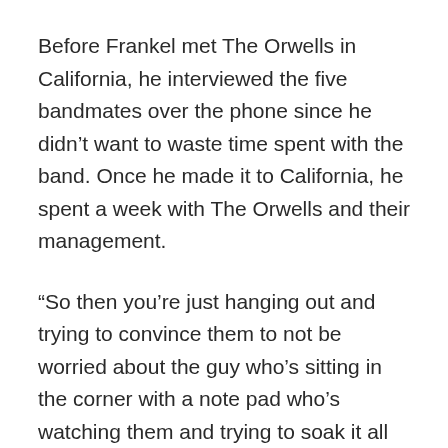Before Frankel met The Orwells in California, he interviewed the five bandmates over the phone since he didn't want to waste time spent with the band. Once he made it to California, he spent a week with The Orwells and their management.
“So then you’re just hanging out and trying to convince them to not be worried about the guy who’s sitting in the corner with a note pad who’s watching them and trying to soak it all in,” Frankel said.
About 95 percent of the material accumulated